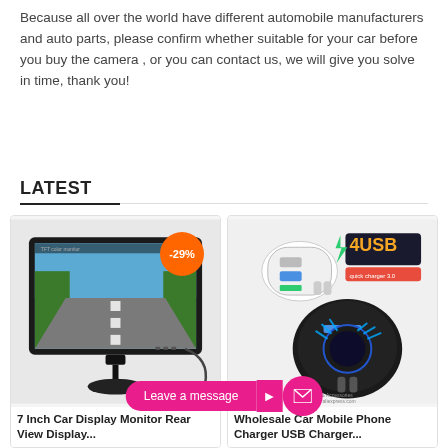Because all over the world have different automobile manufacturers and auto parts, please confirm whether suitable for your car before you buy the camera , or you can contact us, we will give you solve in time, thank you!
LATEST
[Figure (photo): 7 Inch Car Display Monitor Rear View Display product image with -29% discount badge]
7 Inch Car Display Monitor Rear View Display...
[Figure (photo): Wholesale Car Mobile Phone Charger USB Charger with 4USB quick charger 3.0 branding]
Wholesale Car Mobile Phone Charger USB Charger...